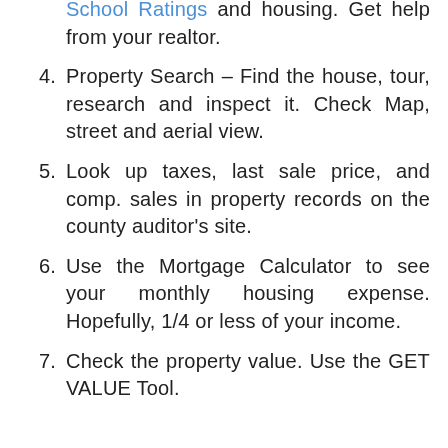School Ratings and housing. Get help from your realtor.
4. Property Search – Find the house, tour, research and inspect it. Check Map, street and aerial view.
5. Look up taxes, last sale price, and comp. sales in property records on the county auditor's site.
6. Use the Mortgage Calculator to see your monthly housing expense. Hopefully, 1/4 or less of your income.
7. Check the property value. Use the GET VALUE Tool.